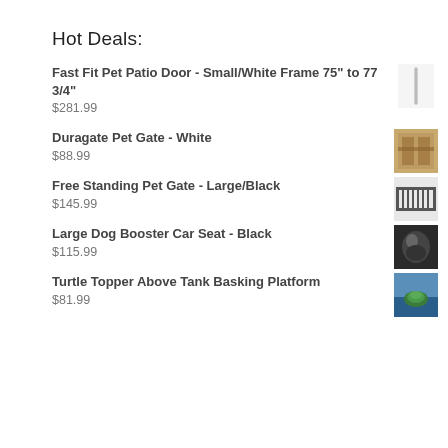Hot Deals:
Fast Fit Pet Patio Door - Small/White Frame 75" to 77 3/4"
$281.99
Duragate Pet Gate - White
$88.99
Free Standing Pet Gate - Large/Black
$145.99
Large Dog Booster Car Seat - Black
$115.99
Turtle Topper Above Tank Basking Platform
$81.99